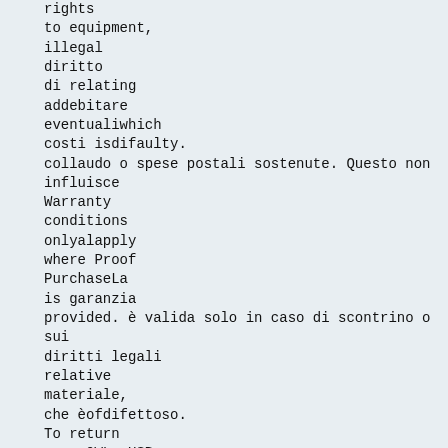rights
to equipment,
illegal
diritto
di relating
addebitare
eventualiwhich
costi isdifaulty.
collaudo o spese postali sostenute. Questo non
influisce
Warranty
conditions
onlyalapply
where Proof
PurchaseLa
is garanzia
provided. è valida solo in caso di scontrino o
sui
diritti legali
relative
materiale,
che èofdifettoso.
To return
your OWL +USB
contact Per
customer.services@theowl.com
to reportinfo@carlesistrumenti.eu
the issue and reason for
fattura
comprovante
l'acquisto.
restituire l'OWL +USB contattare
returning